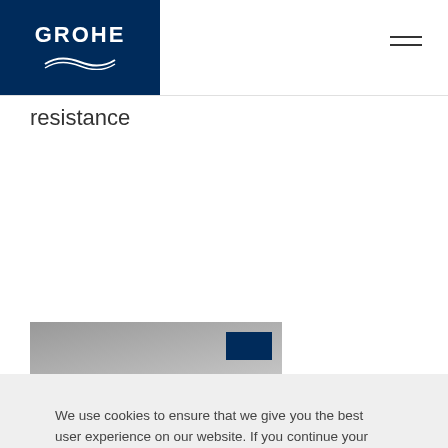GROHE
resistance
[Figure (photo): Product photo showing a surface/material with a dark blue overlay box in the lower right corner]
We use cookies to ensure that we give you the best user experience on our website. If you continue your visit, we’ll assume that you are happy to receive all cookies. Find more detailed information about how cookies are used on this website on our Privacy Disclaimer
OK